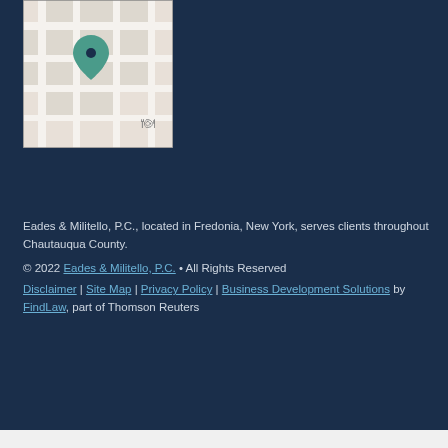[Figure (map): Street map showing location pin for Eades & Militello P.C. in Fredonia, New York]
Eades & Militello, P.C., located in Fredonia, New York, serves clients throughout Chautauqua County.
© 2022 Eades & Militello, P.C. • All Rights Reserved
Disclaimer | Site Map | Privacy Policy | Business Development Solutions by FindLaw, part of Thomson Reuters